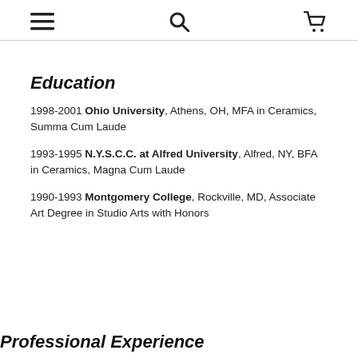[navigation icons: menu, search, cart]
Education
1998-2001 Ohio University, Athens, OH, MFA in Ceramics, Summa Cum Laude
1993-1995 N.Y.S.C.C. at Alfred University, Alfred, NY, BFA in Ceramics, Magna Cum Laude
1990-1993 Montgomery College, Rockville, MD, Associate Art Degree in Studio Arts with Honors
Professional Experience